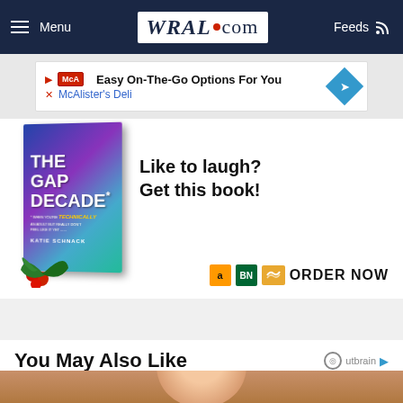Menu | WRAL.com | Feeds
[Figure (advertisement): McAlister's Deli ad banner: Easy On-The-Go Options For You]
[Figure (advertisement): The Gap Decade book ad with holly decoration, Like to laugh? Get this book! ORDER NOW buttons for Amazon, BN, Audible]
You May Also Like
[Figure (photo): Thumbnail photo showing top of a person's bald head against a golden/food background]